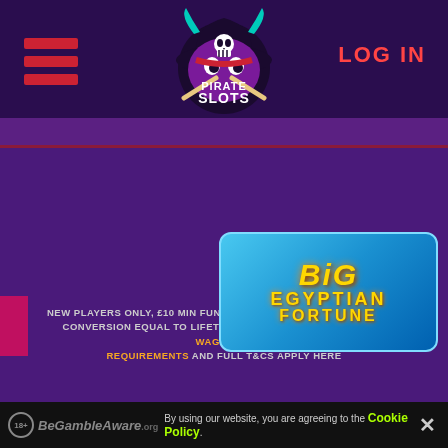Pirate Slots — LOG IN
[Figure (logo): Pirate Slots logo — black pirate hat with skull, teal horns, purple demon face, crossed bones, orange decorations]
NEW PLAYERS ONLY, £10 MIN FUND, £2,000 MAX BONUS, MAX BONUS CONVERSION EQUAL TO LIFETIME DEPOSITS (UP TO £250), 65X WAGERING REQUIREMENTS AND FULL T&CS APPLY HERE
[Figure (screenshot): Big Egyptian Fortune slot game card with golden text on blue gradient background with pyramids]
By using our website, you are agreeing to the Cookie Policy. [18+ BeGambleAware.org]